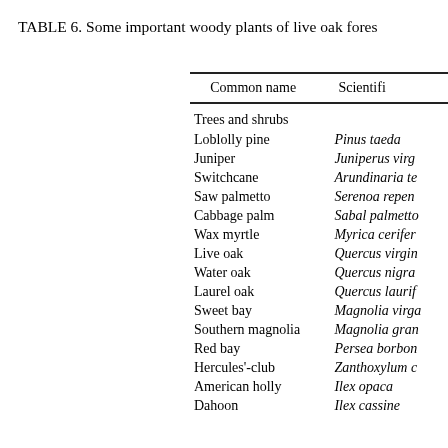TABLE 6. Some important woody plants of live oak fores
| Common name | Scientific name (partial) |
| --- | --- |
| Trees and shrubs |  |
| Loblolly pine | Pinus taeda |
| Juniper | Juniperus virg |
| Switchcane | Arundinaria te |
| Saw palmetto | Serenoa repen |
| Cabbage palm | Sabal palmetto |
| Wax myrtle | Myrica cerifer |
| Live oak | Quercus virgin |
| Water oak | Quercus nigra |
| Laurel oak | Quercus laurif |
| Sweet bay | Magnolia virga |
| Southern magnolia | Magnolia gran |
| Red bay | Persea borbon |
| Hercules'-club | Zanthoxylum c |
| American holly | Ilex opaca |
| Dahoon | Ilex cassine |